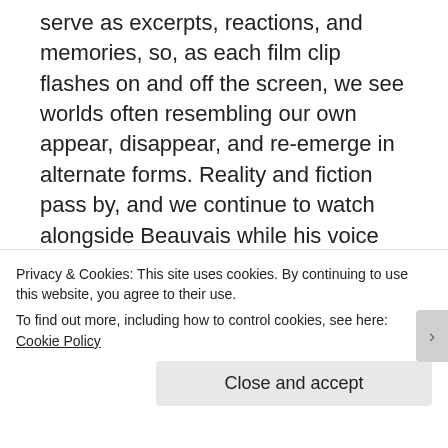serve as excerpts, reactions, and memories, so, as each film clip flashes on and off the screen, we see worlds often resembling our own appear, disappear, and re-emerge in alternate forms. Reality and fiction pass by, and we continue to watch alongside Beauvais while his voice elaborates on the experiences and anxieties that motivated his departure from Paris to the countryside and memories that return to him as he sits in front of the screen. Just Don't Think I'll Scream is the perfect pandemic film not made about the pandemic itself. In fact, it serves as a reminder
Privacy & Cookies: This site uses cookies. By continuing to use this website, you agree to their use.
To find out more, including how to control cookies, see here: Cookie Policy
Close and accept